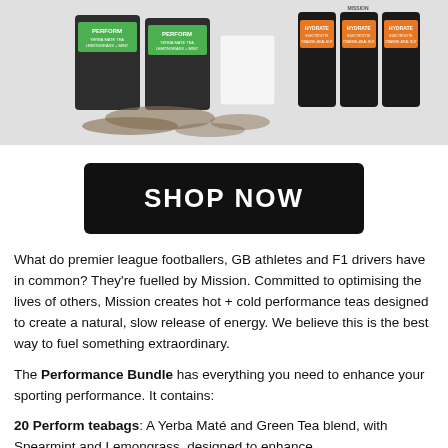[Figure (photo): Product photo showing Mission brand performance tea pouches and canisters. Left side shows green-labeled PERFORM teabags with loose tea, right side shows orange-labeled HYDRATE canisters, on a light gray background.]
SHOP NOW
What do premier league footballers, GB athletes and F1 drivers have in common? They're fuelled by Mission. Committed to optimising the lives of others, Mission creates hot + cold performance teas designed to create a natural, slow release of energy. We believe this is the best way to fuel something extraordinary.
The Performance Bundle has everything you need to enhance your sporting performance. It contains:
20 Perform teabags: A Yerba Maté and Green Tea blend, with Spearmint and Lemongrass, designed to enhance